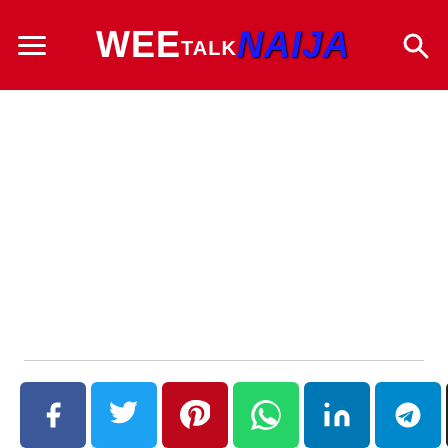WeeTalkNaija - website header with logo and navigation
[Figure (screenshot): White blank content area below header]
[Figure (infographic): Social share buttons row: Facebook, Twitter, Pinterest, WhatsApp, LinkedIn, Telegram, Email, More]